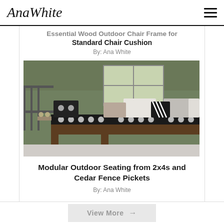AnaWhite [hamburger menu]
Essential Wood Outdoor Chair Frame for Standard Chair Cushion
By: Ana White
[Figure (photo): Outdoor modular seating with black and white floral cushions and decorative pillows in front of a green wall with windows]
Modular Outdoor Seating from 2x4s and Cedar Fence Pickets
By: Ana White
View More →